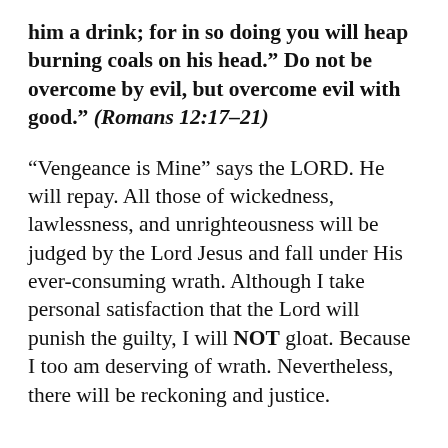him a drink; for in so doing you will heap burning coals on his head.” Do not be overcome by evil, but overcome evil with good.” (Romans 12:17–21)
“Vengeance is Mine” says the LORD. He will repay. All those of wickedness, lawlessness, and unrighteousness will be judged by the Lord Jesus and fall under His ever-consuming wrath. Although I take personal satisfaction that the Lord will punish the guilty, I will NOT gloat. Because I too am deserving of wrath. Nevertheless, there will be reckoning and justice.